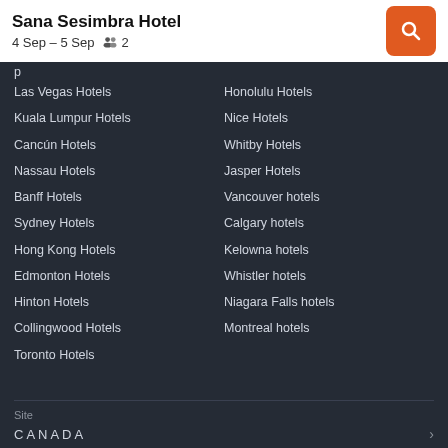Sana Sesimbra Hotel
4 Sep – 5 Sep   2
Las Vegas Hotels
Kuala Lumpur Hotels
Cancún Hotels
Nassau Hotels
Banff Hotels
Sydney Hotels
Hong Kong Hotels
Edmonton Hotels
Hinton Hotels
Collingwood Hotels
Toronto Hotels
Honolulu Hotels
Nice Hotels
Whitby Hotels
Jasper Hotels
Vancouver hotels
Calgary hotels
Kelowna hotels
Whistler hotels
Niagara Falls hotels
Montreal hotels
Site
CANADA